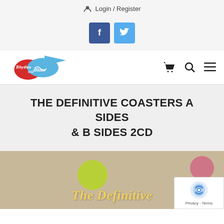Login / Register
[Figure (other): Facebook and Twitter social media buttons]
[Figure (logo): Rhythm and Blues store logo with musical note graphic, red and blue circles]
THE DEFINITIVE COASTERS A SIDES & B SIDES 2CD
[Figure (other): Bottom portion of album cover for The Definitive Coasters, showing gold italic text 'The Definitive' and 'COASTERS' on a tan/beige background with decorative colored circles]